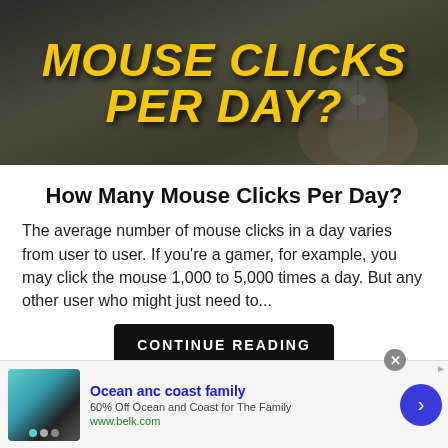[Figure (photo): Dark background image with bold yellow italic text reading 'MOUSE CLICKS PER DAY?' styled in comic/impact font, with a hand on a computer mouse visible in the background.]
How Many Mouse Clicks Per Day?
The average number of mouse clicks in a day varies from user to user. If you're a gamer, for example, you may click the mouse 1,000 to 5,000 times a day. But any other user who might just need to...
CONTINUE READING
[Figure (other): Advertisement banner: Ocean anc coast family — 60% Off Ocean and Coast for The Family — www.belk.com — with product image of swim shorts and a blue arrow button.]